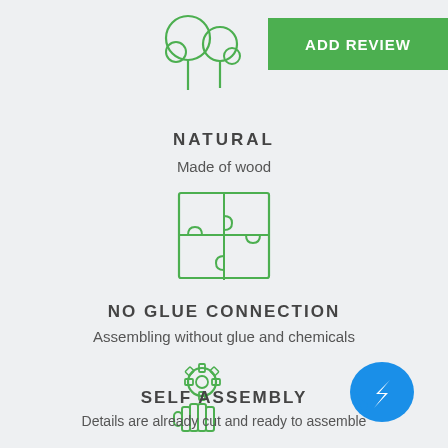[Figure (illustration): Green outline tree icon at top center]
[Figure (illustration): Green 'ADD REVIEW' button in top right corner]
NATURAL
Made of wood
[Figure (illustration): Green outline puzzle pieces icon]
NO GLUE CONNECTION
Assembling without glue and chemicals
[Figure (illustration): Green outline hand holding gear/cog icon]
[Figure (illustration): Blue Facebook Messenger icon bubble]
SELF ASSEMBLY
Details are already cut and ready to assemble